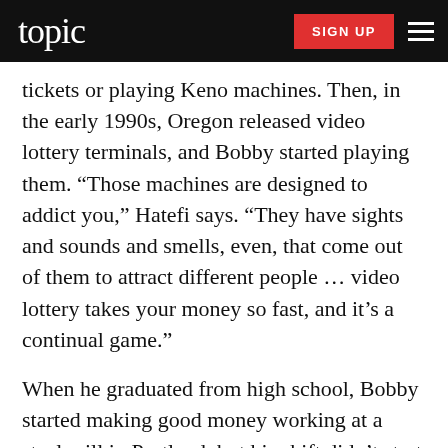topic  SIGN UP
tickets or playing Keno machines. Then, in the early 1990s, Oregon released video lottery terminals, and Bobby started playing them. “Those machines are designed to addict you,” Hatefi says. “They have sights and sounds and smells, even, that come out of them to attract different people … video lottery takes your money so fast, and it’s a continual game.”
When he graduated from high school, Bobby started making good money working at a steel mill in Portland, but his shift didn’t start until 3 p.m. So he spent the earlier part of his days at a bowling alley, playing the video lottery. “It didn’t take very long before it wasn’t just a few minutes, but a few hours,” Hatefi says. “It just soon became something that he